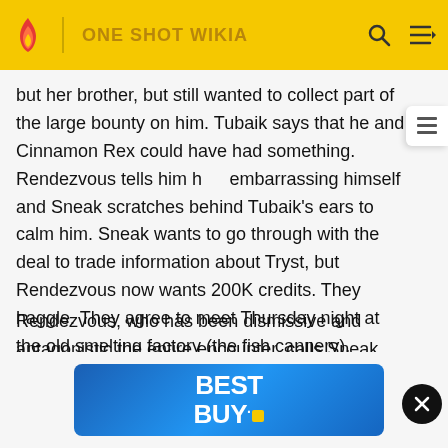ONE SHOT WIKIA
but her brother, but still wanted to collect part of the large bounty on him. Tubaik says that he and Cinnamon Rex could have had something. Rendezvous tells him he's embarrassing himself and Sneak scratches behind Tubaik's ears to calm him. Sneak wants to go through with the deal to trade information about Tryst, but Rendezvous now wants 200K credits. They haggle. They agree to meet Thursday night at the old smelting factory (the fish cannery).
Rendezvous, who has been dismissive and antagonistic the entire encounter, calls Sneak and Tubaik truly incompatible. Rendezvous reminds them that (they do not) and says it's against the rules of BHIKKE to attack her, and that they
[Figure (other): Best Buy advertisement banner with blue gradient background showing 'BEST BUY.' logo in white bold text with yellow rectangle accent, overlaid on the page content]